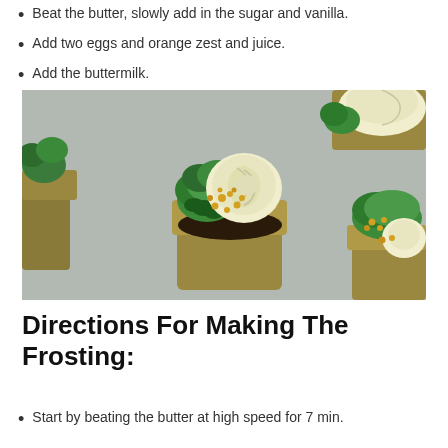Beat the butter, slowly add in the sugar and vanilla.
Add two eggs and orange zest and juice.
Add the buttermilk.
[Figure (photo): Close-up photo of decorated cupcakes with green and cream frosting swirls and gold pearl sprinkles, in gold foil wrappers, on a gray background.]
Directions For Making The Frosting:
Start by beating the butter at high speed for 7 min.